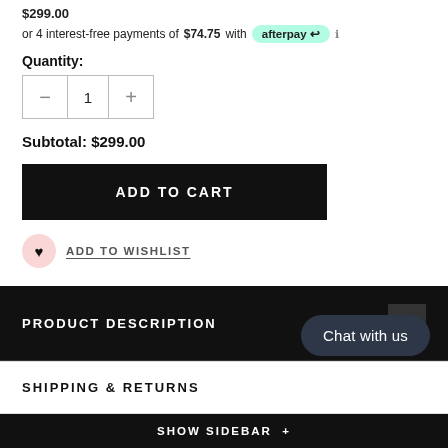$299.00
or 4 interest-free payments of $74.75 with afterpay
Quantity:
Subtotal: $299.00
ADD TO CART
ADD TO WISHLIST
PRODUCT DESCRIPTION
SHIPPING & RETURNS
SHOW SIDEBAR +
Chat with us